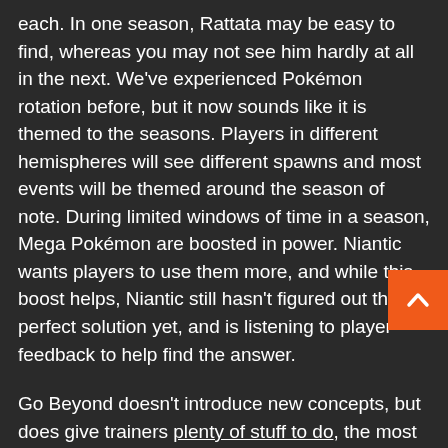each. In one season, Rattata may be easy to find, whereas you may not see him hardly at all in the next. We've experienced Pokémon rotation before, but it now sounds like it is themed to the seasons. Players in different hemispheres will see different spawns and most events will be themed around the season of note. During limited windows of time in a season, Mega Pokémon are boosted in power. Niantic wants players to use them more, and while this boost helps, Niantic still hasn't figured out the perfect solution yet, and is listening to player feedback to help find the answer.
Go Beyond doesn't introduce new concepts, but does give trainers plenty of stuff to do, the most exciting of which is the addition of the new region.
Are you still playing Pokémon Go? If so, what do you think of the proposed update?